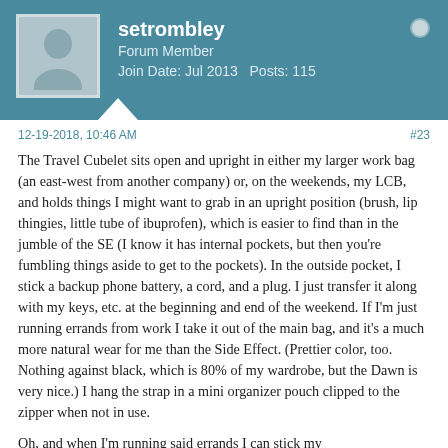setrombley
Forum Member
Join Date: Jul 2013   Posts: 115
12-19-2018, 10:46 AM
#23
The Travel Cubelet sits open and upright in either my larger work bag (an east-west from another company) or, on the weekends, my LCB, and holds things I might want to grab in an upright position (brush, lip thingies, little tube of ibuprofen), which is easier to find than in the jumble of the SE (I know it has internal pockets, but then you're fumbling things aside to get to the pockets). In the outside pocket, I stick a backup phone battery, a cord, and a plug. I just transfer it along with my keys, etc. at the beginning and end of the weekend. If I'm just running errands from work I take it out of the main bag, and it's a much more natural wear for me than the Side Effect. (Prettier color, too. Nothing against black, which is 80% of my wardrobe, but the Dawn is very nice.) I hang the strap in a mini organizer pouch clipped to the zipper when not in use.
Oh, and when I'm running said errands I can stick my